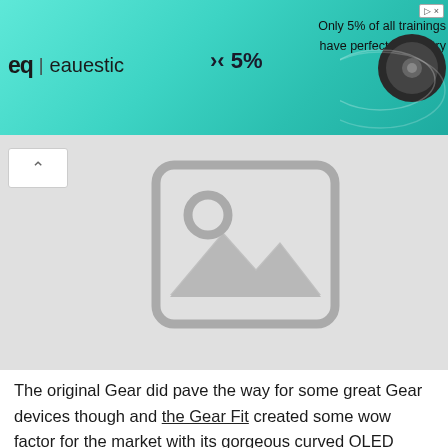[Figure (screenshot): Advertisement banner for Equestic showing logo, '><  5%' and text 'Only 5% of all trainings have perfect symmetry of the horse' with teal/turquoise background and earbuds product image]
[Figure (photo): Large image placeholder (gray background with image icon showing mountains and circle) representing a missing or unloaded product/article image]
The original Gear did pave the way for some great Gear devices though and the Gear Fit created some wow factor for the market with its gorgeous curved OLED display.